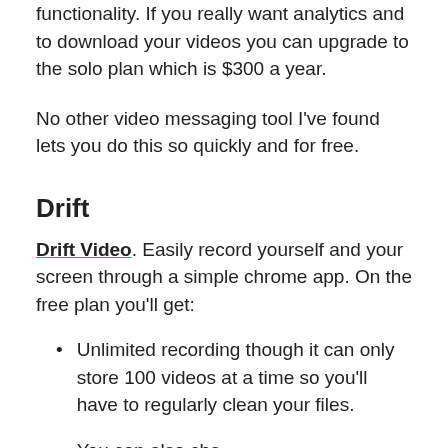functionality. If you really want analytics and to download your videos you can upgrade to the solo plan which is $300 a year.
No other video messaging tool I've found lets you do this so quickly and for free.
Drift
Drift Video. Easily record yourself and your screen through a simple chrome app. On the free plan you'll get:
Unlimited recording though it can only store 100 videos at a time so you'll have to regularly clean your files.
You can also...